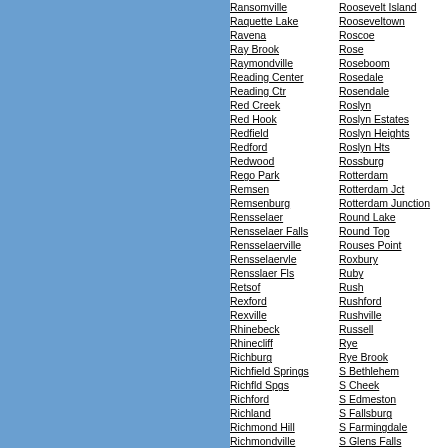[Figure (other): Blue rectangular panel on the left side of the page]
Ransomville
Raquette Lake
Ravena
Ray Brook
Raymondville
Reading Center
Reading Ctr
Red Creek
Red Hook
Redfield
Redford
Redwood
Rego Park
Remsen
Remsenburg
Rensselaer
Rensselaer Falls
Rensselaerville
Rensselaervle
Rensslaer Fls
Retsof
Rexford
Rexville
Rhinebeck
Rhinecliff
Richburg
Richfield Springs
Richfld Spgs
Richford
Richland
Richmond Hill
Richmondville
Richville
Ridge
Ridgemont
Ridgewood
Rifton
Riparius
Ripley
Riverhead
Rochester
Roosevelt Island
Rooseveltown
Roscoe
Rose
Roseboom
Rosedale
Rosendale
Roslyn
Roslyn Estates
Roslyn Heights
Roslyn Hts
Rossburg
Rotterdam
Rotterdam Jct
Rotterdam Junction
Round Lake
Round Top
Rouses Point
Roxbury
Ruby
Rush
Rushford
Rushville
Russell
Rye
Rye Brook
S Bethlehem
S Cheek
S Edmeston
S Fallsburg
S Farmingdale
S Glens Falls
S Hempstead
S Jamesport
S Kortright
S New Berlin
S Ozone Park
S Richmond Hl
S Setauket
S Westerlo
Sabael